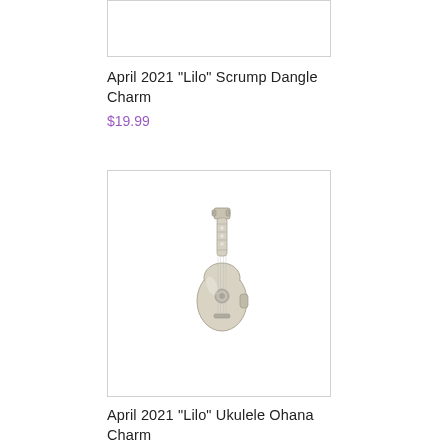[Figure (photo): Top portion of a product image showing partial view of a charm item, white background with light grey border]
April 2021 "Lilo" Scrump Dangle Charm
$19.99
[Figure (photo): Silver ukulele charm jewelry piece, small guitar-shaped charm with rhinestone details on neck, photographed on white background]
April 2021 "Lilo" Ukulele Ohana Charm